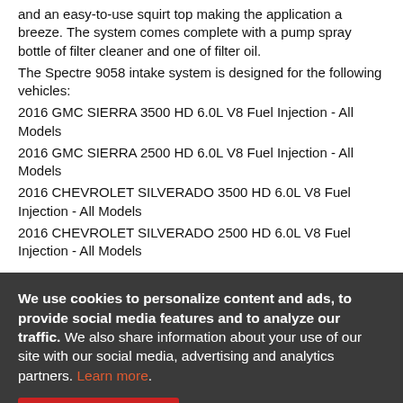and an easy-to-use squirt top making the application a breeze. The system comes complete with a pump spray bottle of filter cleaner and one of filter oil.
The Spectre 9058 intake system is designed for the following vehicles:
2016 GMC SIERRA 3500 HD 6.0L V8 Fuel Injection - All Models
2016 GMC SIERRA 2500 HD 6.0L V8 Fuel Injection - All Models
2016 CHEVROLET SILVERADO 3500 HD 6.0L V8 Fuel Injection - All Models
2016 CHEVROLET SILVERADO 2500 HD 6.0L V8 Fuel Injection - All Models
We use cookies to personalize content and ads, to provide social media features and to analyze our traffic. We also share information about your use of our site with our social media, advertising and analytics partners. Learn more.